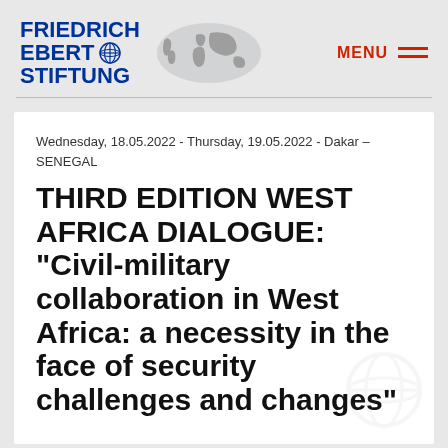FRIEDRICH EBERT STIFTUNG
Wednesday, 18.05.2022 - Thursday, 19.05.2022 - Dakar – SENEGAL
THIRD EDITION WEST AFRICA DIALOGUE: "Civil-military collaboration in West Africa: a necessity in the face of security challenges and changes"